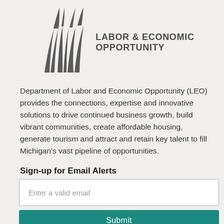[Figure (logo): Michigan Department of Labor & Economic Opportunity logo with stylized pillar/flame graphic and bold uppercase text]
Department of Labor and Economic Opportunity (LEO) provides the connections, expertise and innovative solutions to drive continued business growth, build vibrant communities, create affordable housing, generate tourism and attract and retain key talent to fill Michigan's vast pipeline of opportunities.
Sign-up for Email Alerts
Enter a valid email
Submit